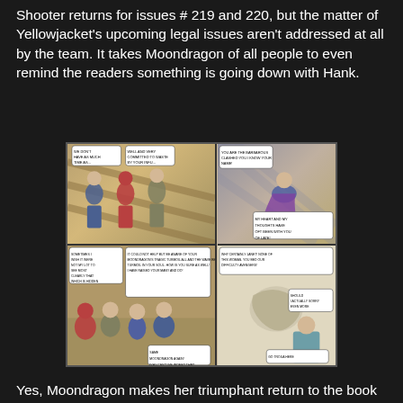Shooter returns for issues # 219 and 220, but the matter of Yellowjacket's upcoming legal issues aren't addressed at all by the team. It takes Moondragon of all people to even remind the readers something is going down with Hank.
[Figure (illustration): Comic book page panels showing superhero characters including Captain America, Iron Man, Thor, Moondragon and other Avengers in conversation scenes. Multiple panels depicting team interactions.]
Yes, Moondragon makes her triumphant return to the book